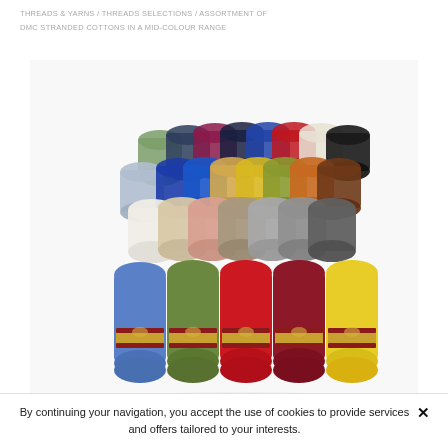THREADS & YARNS / THREADS SELECTIONS / ASSORTMENT OF DMC STRANDED COTTONS IN A MID-COLOUR RANGE
[Figure (photo): A collection of DMC stranded cotton embroidery thread skeins arranged in overlapping rows, showing a wide variety of colors including blues, greens, reds, yellows, grays, beige, and dark tones. Each skein has a gold and brown DMC label band near the bottom.]
By continuing your navigation, you accept the use of cookies to provide services and offers tailored to your interests.